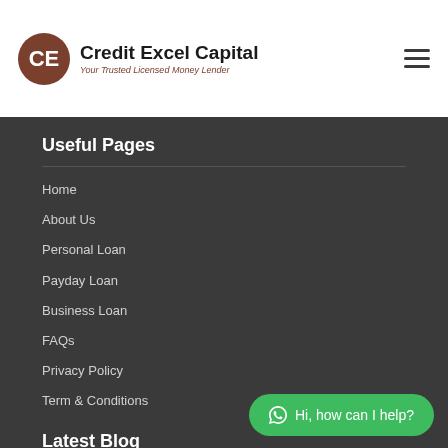Credit Excel Capital — Your Trusted Licensed Money Lender
Useful Pages
Home
About Us
Personal Loan
Payday Loan
Business Loan
FAQs
Privacy Policy
Term & Conditions
Latest Blog
8 Ways to Make Money Online
Hi, how can I help?